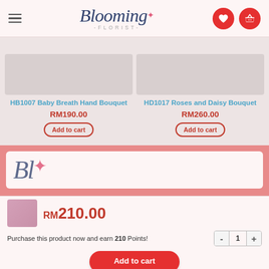Blooming Florist
HB1007 Baby Breath Hand Bouquet RM190.00
HD1017 Roses and Daisy Bouquet RM260.00
[Figure (screenshot): Blooming Florist logo on pink background]
RM210.00
Purchase this product now and earn 210 Points!
Add to cart